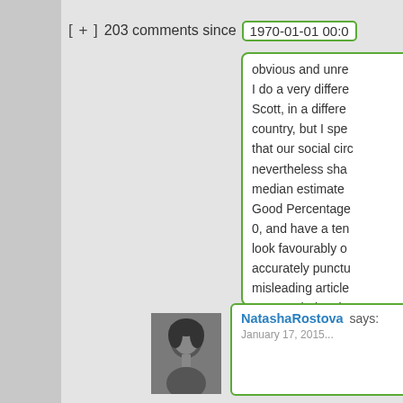[ + ]  203 comments since   1970-01-01 00:0
obvious and unre
I do a very differe
Scott, in a differe
country, but I spe
that our social cir
nevertheless sha
median estimate
Good Percentage
0, and have a ten
look favourably o
accurately punctu
misleading article
support their exis
opinions.
Hide 1
NatashaRostova says:
January 17, 2015...